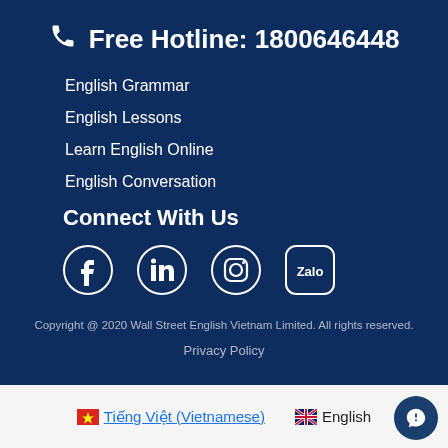Free Hotline: 1800646448
English Grammar
English Lessons
Learn English Online
English Conversation
Connect With Us
[Figure (logo): Social media icons: Facebook, LinkedIn, Instagram, Zalo]
Copyright @ 2020 Wall Street English Vietnam Limited. All rights reserved.
Privacy Policy
Tiếng Việt (Vietnamese)
English